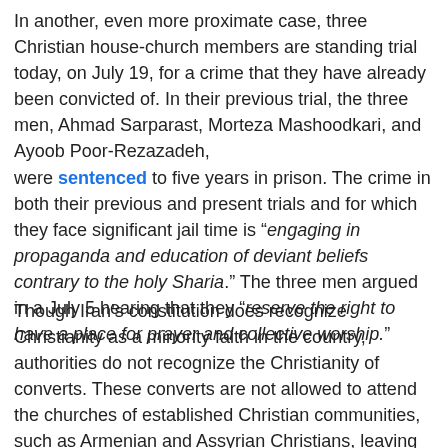In another, even more proximate case, three Christian house-church members are standing trial today, on July 19, for a crime that they have already been convicted of. In their previous trial, the three men, Ahmad Sarparast, Morteza Mashoodkari, and Ayoob Poor-Rezazadeh, were sentenced to five years in prison. The crime in both their previous and present trials and for which they face significant jail time is “engaging in propaganda and education of deviant beliefs contrary to the holy Sharia.” The three men argued in a July 5 hearing that they “reserve the right to have a place for prayer and collective worship.”
Though Iran’s constitution does recognize Christianity as a minority faith in the country, authorities do not recognize the Christianity of converts. These converts are not allowed to attend the churches of established Christian communities, such as Armenian and Assyrian Christians, leaving them with nowhere to gather for communal worship and prayer other than house-churches. But the unsanctioned nature of these house churches makes them vulnerable to